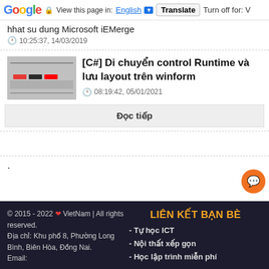Google - View this page in: English | Translate | Turn off for: V
hhat su dung Microsoft iEMerge
10:25:37, 14/03/2019
[C#] Di chuyển control Runtime và lưu layout trên winform
08:19:42, 05/01/2021
Đọc tiếp
.
LIÊN KẾT BẠN BÈ
© 2015 - 2022 ❤ VietNam | All rights reserved.
Địa chỉ: Khu phố 8, Phường Long Bình, Biên Hòa, Đồng Nai.
Email:
- Tự học ICT
- Nội thất xếp gọn
- Học lập trình miễn phí